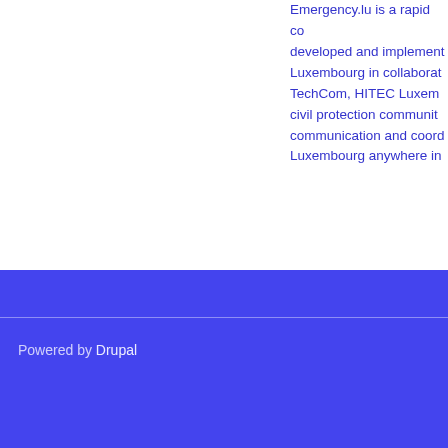Emergency.lu is a rapid co... developed and implement... Luxembourg in collaborat... TechCom, HITEC Luxem... civil protection communit... communication and coord... Luxembourg anywhere in...
ALPSAR
Is a civil protection EU pr... improved situational awar... countries. HITEC is the ir...
Powered by Drupal